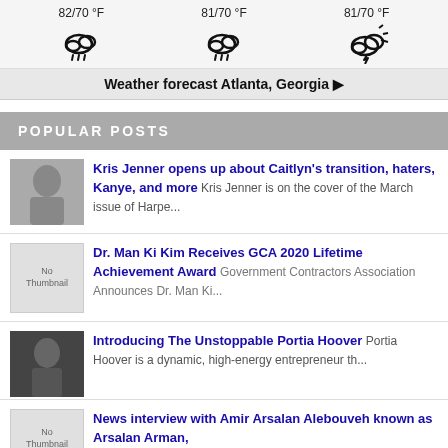[Figure (infographic): Weather forecast widget showing three columns with temperatures 82/70°F, 81/70°F, 81/70°F and weather icons (rain, rain, thunderstorm)]
Weather forecast Atlanta, Georgia ▶
POPULAR POSTS
[Figure (photo): Thumbnail photo of Kris Jenner]
Kris Jenner opens up about Caitlyn's transition, haters, Kanye, and more Kris Jenner is on the cover of the March issue of Harpe...
[Figure (other): No Thumbnail placeholder image]
Dr. Man Ki Kim Receives GCA 2020 Lifetime Achievement Award Government Contractors Association Announces Dr. Man Ki...
[Figure (photo): Thumbnail photo of Portia Hoover]
Introducing The Unstoppable Portia Hoover Portia Hoover is a dynamic, high-energy entrepreneur th...
[Figure (other): No Thumbnail placeholder image]
News interview with Amir Arsalan Alebouveh known as Arsalan Arman,